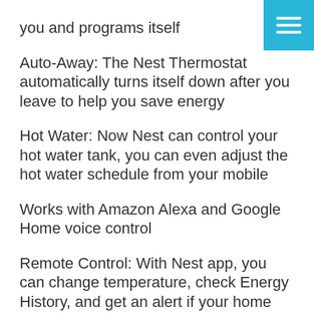you and programs itself
Auto-Away: The Nest Thermostat automatically turns itself down after you leave to help you save energy
Hot Water: Now Nest can control your hot water tank, you can even adjust the hot water schedule from your mobile
Works with Amazon Alexa and Google Home voice control
Remote Control: With Nest app, you can change temperature, check Energy History, and get an alert if your home gets too cool
Compatible with most boiler makes and models
Nest Carbon Monoxide and Smoke Alarm